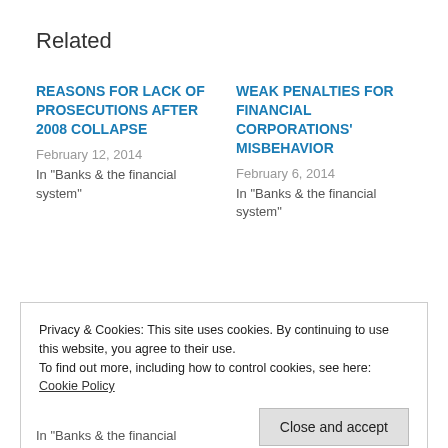Related
REASONS FOR LACK OF PROSECUTIONS AFTER 2008 COLLAPSE
February 12, 2014
In "Banks & the financial system"
WEAK PENALTIES FOR FINANCIAL CORPORATIONS' MISBEHAVIOR
February 6, 2014
In "Banks & the financial system"
Privacy & Cookies: This site uses cookies. By continuing to use this website, you agree to their use.
To find out more, including how to control cookies, see here:
Cookie Policy
Close and accept
In "Banks & the financial